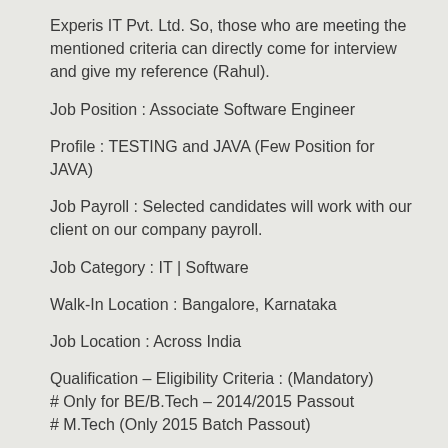Experis IT Pvt. Ltd. So, those who are meeting the mentioned criteria can directly come for interview and give my reference (Rahul).
Job Position : Associate Software Engineer
Profile : TESTING and JAVA (Few Position for JAVA)
Job Payroll : Selected candidates will work with our client on our company payroll.
Job Category : IT | Software
Walk-In Location : Bangalore, Karnataka
Job Location : Across India
Qualification – Eligibility Criteria : (Mandatory)
# Only for BE/B.Tech – 2014/2015 Passout
# M.Tech (Only 2015 Batch Passout)